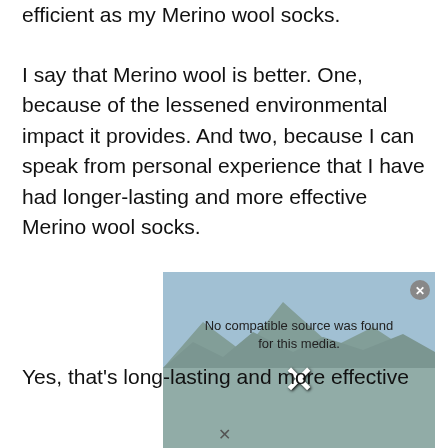efficient as my Merino wool socks.
I say that Merino wool is better. One, because of the lessened environmental impact it provides. And two, because I can speak from personal experience that I have had longer-lasting and more effective Merino wool socks.
[Figure (screenshot): A video player overlay showing an error message 'No compatible source was found for this media.' with a close button (X) in the top right corner and a background image of a mountain landscape with an X mark in the center.]
Yes, that's long-lasting and more effective